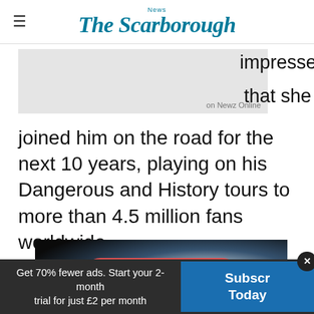The Scarborough News
[Figure (photo): Gray image placeholder with text overlay reading 'on Newz Online', partial article text visible: '...impressed that she']
joined him on the road for the next 10 years, playing on his Dangerous and History tours to more than 4.5 million fans worldwide.
[Figure (screenshot): Video thumbnail with concert lighting and a red READ MORE button overlay, with 'on Newz Online' watermark]
Get 70% fewer ads. Start your 2-month trial for just £2 per month
Subscribe Today